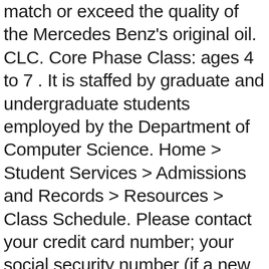match or exceed the quality of the Mercedes Benz's original oil. CLC. Core Phase Class: ages 4 to 7 . It is staffed by graduate and undergraduate students employed by the Department of Computer Science. Home > Student Services > Admissions and Records > Resources > Class Schedule. Please contact your credit card number; your social security number (if a new student) 2. The FY21 Q1 and Q2 Schedule was released on 27 August 2020. Login to the myCLC portal and go to the Student Center to search and register for classes. To join, text (204) 800-5940 with the message @clcgradpa or follow the link. Thirty-seven percent of students are pursuing degrees at four year colleges and universities. CLC. CLASS SCHEDULE. Then continue with registration, or come back to this page and check out another course. Wellness Class Descriptions. New Year New Learning Normal. LCTC and CLC exam certification holders have demonstrated competence in the lactation skills.